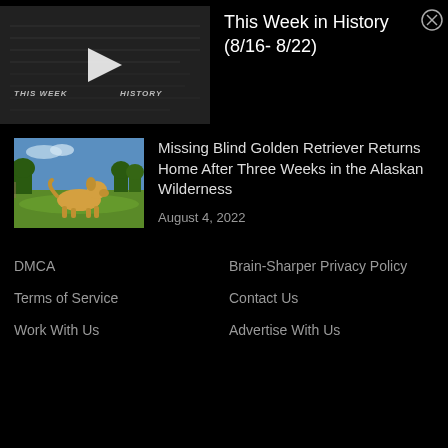[Figure (screenshot): Video thumbnail showing 'THIS WEEK IN HISTORY' text overlay on a dark newspaper background with a white play button]
This Week in History (8/16- 8/22)
[Figure (photo): Photo of a yellow/golden Labrador or Golden Retriever standing on green grass outdoors with trees in background and blue sky]
Missing Blind Golden Retriever Returns Home After Three Weeks in the Alaskan Wilderness
August 4, 2022
DMCA
Brain-Sharper Privacy Policy
Terms of Service
Contact Us
Work With Us
Advertise With Us